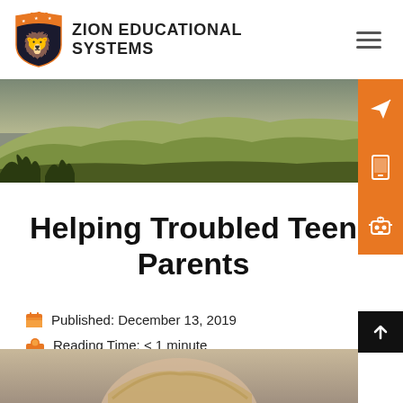[Figure (logo): Zion Educational Systems logo with orange and black shield featuring a lion, with text ZION EDUCATIONAL SYSTEMS]
[Figure (photo): Panoramic landscape photo of rolling golden hills and distant mountains under a grey sky]
Helping Troubled Teen Parents
Published: December 13, 2019
Reading Time: < 1 minute
[Figure (photo): Bottom portion showing the top of a person's head with blonde hair]